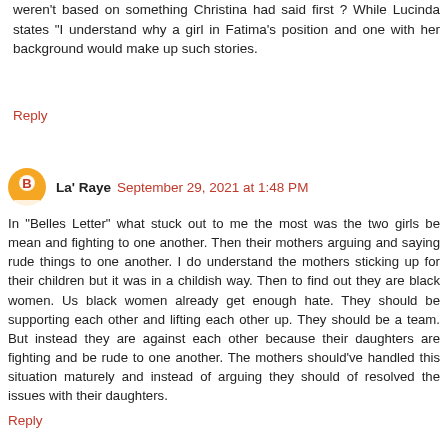weren't based on something Christina had said first ? While Lucinda states "I understand why a girl in Fatima's position and one with her background would make up such stories.
Reply
La' Raye  September 29, 2021 at 1:48 PM
In “Belles Letter” what stuck out to me the most was the two girls be mean and fighting to one another. Then their mothers arguing and saying rude things to one another. I do understand the mothers sticking up for their children but it was in a childish way. Then to find out they are black women. Us black women already get enough hate. They should be supporting each other and lifting each other up. They should be a team. But instead they are against each other because their daughters are fighting and be rude to one another. The mothers should’ve handled this situation maturely and instead of arguing they should of resolved the issues with their daughters.
Reply